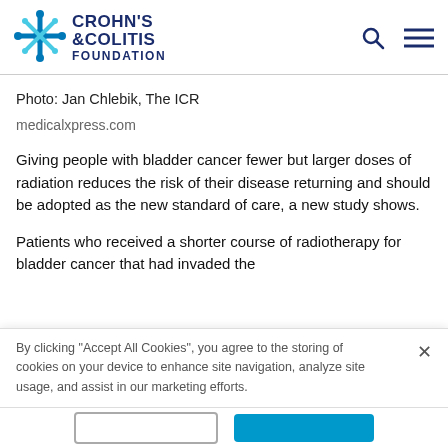[Figure (logo): Crohn's & Colitis Foundation logo with blue star/snowflake icon and navy text]
Photo: Jan Chlebik, The ICR
medicalxpress.com
Giving people with bladder cancer fewer but larger doses of radiation reduces the risk of their disease returning and should be adopted as the new standard of care, a new study shows.
Patients who received a shorter course of radiotherapy for bladder cancer that had invaded the
By clicking "Accept All Cookies", you agree to the storing of cookies on your device to enhance site navigation, analyze site usage, and assist in our marketing efforts.